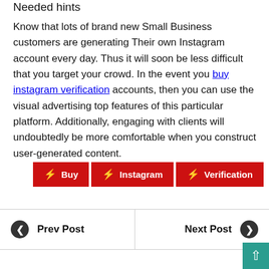Needed hints
Know that lots of brand new Small Business customers are generating Their own Instagram account every day. Thus it will soon be less difficult that you target your crowd. In the event you buy instagram verification accounts, then you can use the visual advertising top features of this particular platform. Additionally, engaging with clients will undoubtedly be more comfortable when you construct user-generated content.
Buy
Instagram
Verification
Prev Post
Next Post